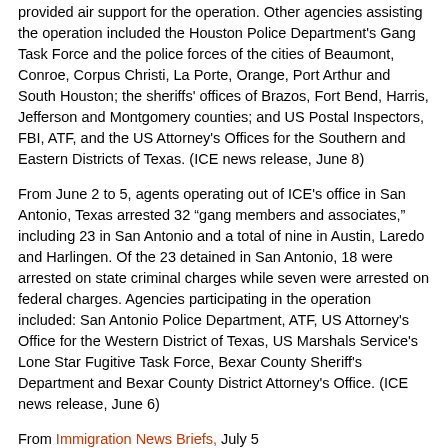provided air support for the operation. Other agencies assisting the operation included the Houston Police Department's Gang Task Force and the police forces of the cities of Beaumont, Conroe, Corpus Christi, La Porte, Orange, Port Arthur and South Houston; the sheriffs' offices of Brazos, Fort Bend, Harris, Jefferson and Montgomery counties; and US Postal Inspectors, FBI, ATF, and the US Attorney's Offices for the Southern and Eastern Districts of Texas. (ICE news release, June 8)
From June 2 to 5, agents operating out of ICE's office in San Antonio, Texas arrested 32 "gang members and associates," including 23 in San Antonio and a total of nine in Austin, Laredo and Harlingen. Of the 23 detained in San Antonio, 18 were arrested on state criminal charges while seven were arrested on federal charges. Agencies participating in the operation included: San Antonio Police Department, ATF, US Attorney's Office for the Western District of Texas, US Marshals Service's Lone Star Fugitive Task Force, Bexar County Sheriff's Department and Bexar County District Attorney's Office. (ICE news release, June 6)
From Immigration News Briefs, July 5
See our last post on the politics of immigration.
[Figure (illustration): Twitter and Facebook social media icon buttons]